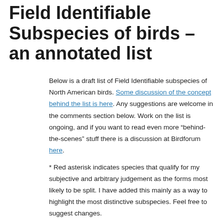Field Identifiable Subspecies of birds – an annotated list
Below is a draft list of Field Identifiable subspecies of North American birds. Some discussion of the concept behind the list is here. Any suggestions are welcome in the comments section below. Work on the list is ongoing, and if you want to read even more “behind-the-scenes” stuff there is a discussion at Birdforum here.
* Red asterisk indicates species that qualify for my subjective and arbitrary judgement as the forms most likely to be split. I have added this mainly as a way to highlight the most distinctive subspecies. Feel free to suggest changes.
Family Anatidae – Swans, Geese and Ducks